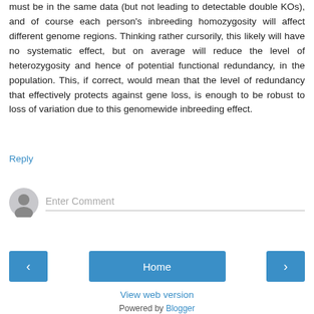must be in the same data (but not leading to detectable double KOs), and of course each person's inbreeding homozygosity will affect different genome regions. Thinking rather cursorily, this likely will have no systematic effect, but on average will reduce the level of heterozygosity and hence of potential functional redundancy, in the population. This, if correct, would mean that the level of redundancy that effectively protects against gene loss, is enough to be robust to loss of variation due to this genomewide inbreeding effect.
Reply
[Figure (other): Comment input area with avatar icon and 'Enter Comment' placeholder text]
[Figure (other): Navigation buttons: left arrow, Home, right arrow]
View web version
Powered by Blogger